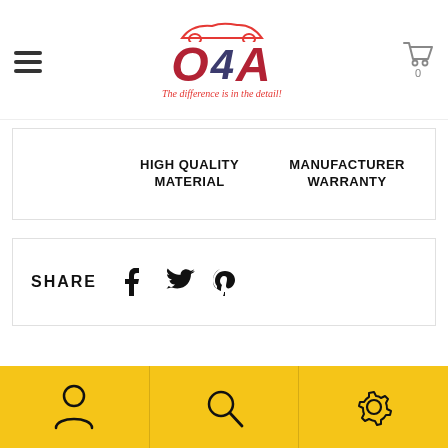[Figure (logo): OAA brand logo with American flag design in letters O, 4, A, a car silhouette above, and tagline 'The difference is in the detail!']
HIGH QUALITY MATERIAL
MANUFACTURER WARRANTY
SHARE
[Figure (infographic): Social share icons: Facebook, Twitter, Pinterest]
DESCRIPTION
SHIPPING AND REFUND
[Figure (infographic): Bottom navigation bar with person icon, search icon, and settings/gear icon on yellow background]